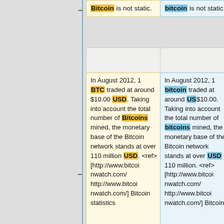− Bitcoin is not static.
+ bitcoin is not static.
In August 2012, 1 BTC traded at around $10.00 USD. Taking into account the total number of Bitcoins mined, the monetary base of the Bitcoin network stands at over 110 million USD. <ref> [http://www.bitcoinwatch.com/ http://www.bitcoinwatch.com/] Bitcoin statistics</ref>
In August 2012, 1 bitcoin traded at around US$10.00. Taking into account the total number of bitcoins mined, the monetary base of the Bitcoin network stands at over USD 110 million. <ref> [http://www.bitcoinwatch.com/ http://www.bitcoinwatch.com/] Bitcoin